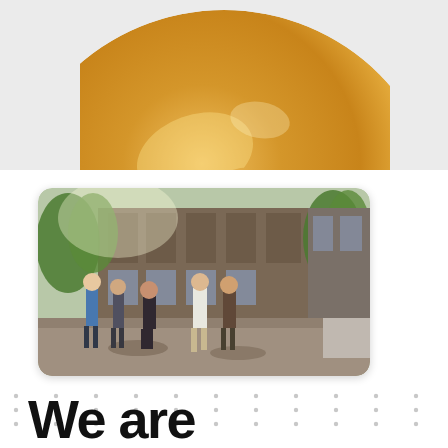[Figure (photo): Gold metallic donut/disc sculpture photographed against a light gray background, showing the top portion of a large ring-shaped golden object with reflective surface]
[Figure (photo): Outdoor photo of a group of people walking in a courtyard or plaza area in front of a multi-story brick building with trees, taken on a sunny day]
We are